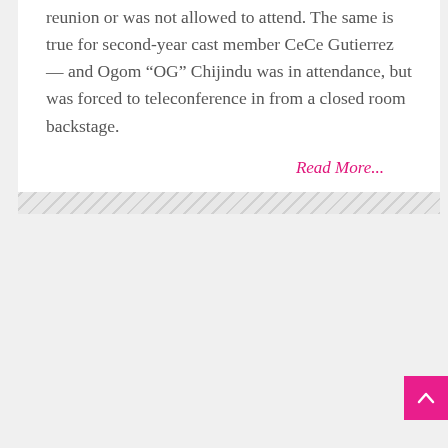reunion or was not allowed to attend. The same is true for second-year cast member CeCe Gutierrez — and Ogom “OG” Chijindu was in attendance, but was forced to teleconference in from a closed room backstage.
Read More...